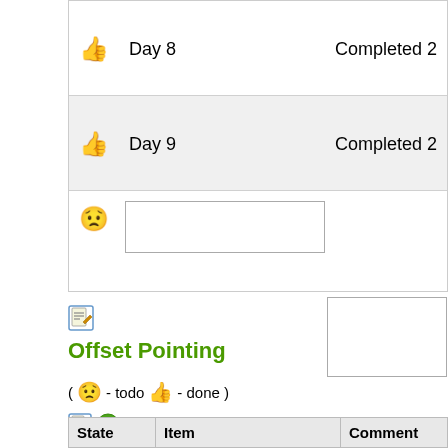| State | Item | Comment |
| --- | --- | --- |
| 👍 (thumbs up) | Day 8 | Completed 2 |
| 👍 (thumbs up) | Day 9 | Completed 2 |
| 😟 (worried) | (input) | (input) |
[Figure (other): Edit icon (pencil on notepad)]
Offset Pointing
( 😟 - todo 👍 - done )
[Figure (other): Edit icon and add/plus icon]
| State | Item | Comment |
| --- | --- | --- |